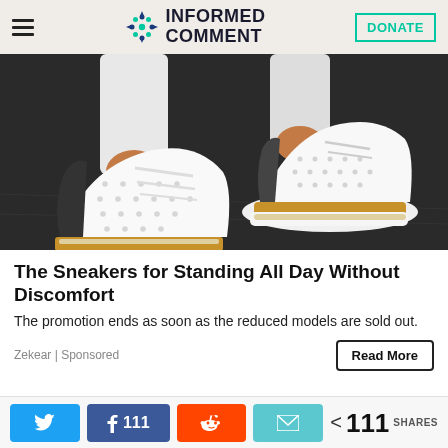INFORMED COMMENT | DONATE
[Figure (photo): Close-up photo of a person wearing white jeans and white sneakers with perforated pattern, tan/brown sole trim and white rubber outsole, standing on dark pavement]
The Sneakers for Standing All Day Without Discomfort
The promotion ends as soon as the reduced models are sold out.
Zekear | Sponsored
Read More
< 111 SHARES (Twitter, Facebook 111, Reddit, Email share buttons)